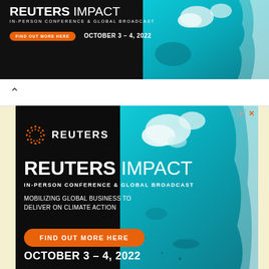[Figure (screenshot): Reuters Impact conference advertisement banner (top). Dark background with teal/turquoise aerial iceberg photo on right. Reuters logo, 'REUTERS IMPACT' headline, 'IN-PERSON CONFERENCE & GLOBAL BROADCAST', orange 'FIND OUT MORE HERE' button, 'OCTOBER 3 – 4, 2022' date text.]
[Figure (screenshot): Browser navigation bar with back chevron arrow on white background.]
[Figure (screenshot): Reuters Impact full advertisement. Dark background with aerial teal/turquoise coastal/iceberg image on right. Reuters dot-circle logo and 'REUTERS' wordmark at top left. Large 'REUTERS IMPACT' headline. 'IN-PERSON CONFERENCE & GLOBAL BROADCAST' subtitle. 'MOBILIZING GLOBAL BUSINESS TO DELIVER ON CLIMATE ACTION' text. Orange pill button 'FIND OUT MORE HERE'. 'OCTOBER 3 – 4, 2022' date at bottom.]